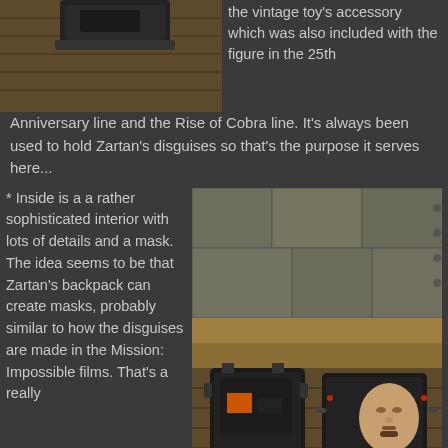[Figure (photo): Close-up of a vintage toy accessory (Zartan's backpack) on a wooden surface]
the vintage toy's accessory which was also included with the figure in the 25th Anniversary line and the Rise of Cobra line. It's always been used to hold Zartan's disguises so that's the purpose it serves here...
[Figure (photo): Two pieces of Zartan's mask-making backpack accessory open on a wooden floor showing interior detail and a face mask]
* Inside is a a rather sophisticated interior with lots of details and a mask. The idea seems to be that Zartan's backpack can create masks, probably similar to how the disguises are made in the Mission: Impossible films. That's a really